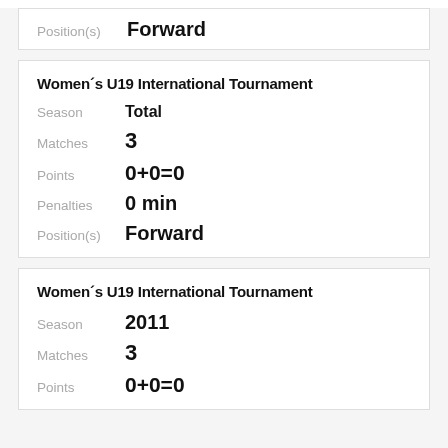| Position(s) | Forward |
| Women´s U19 International Tournament |
| --- |
| Season | Total |
| Matches | 3 |
| Points | 0+0=0 |
| Penalties | 0 min |
| Position(s) | Forward |
| Women´s U19 International Tournament |
| --- |
| Season | 2011 |
| Matches | 3 |
| Points | 0+0=0 |